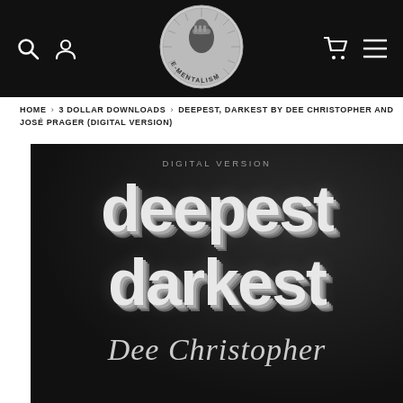[Figure (screenshot): E-Mentalism website navigation bar with black background, search icon, user icon, circular logo with magician illustration labeled E-MENTALISM in center, cart icon and menu icon on right]
HOME > 3 DOLLAR DOWNLOADS > DEEPEST, DARKEST BY DEE CHRISTOPHER AND JOSÉ PRAGER (DIGITAL VERSION)
[Figure (photo): Product cover image on dark background showing '3D chrome style text DIGITAL VERSION above deepest darkest with signature Dee Christopher at bottom']